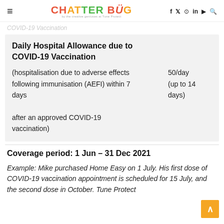CHATTER BUG by the creative geniuses at Tune Protect
COVID-19 Vaccination
| Benefit | Amount |
| --- | --- |
| Daily Hospital Allowance due to COVID-19 Vaccination |  |
| (hospitalisation due to adverse effects following immunisation (AEFI) within 7 days after an approved COVID-19 vaccination) | 50/day (up to 14 days) |
Coverage period: 1 Jun – 31 Dec 2021
Example: Mike purchased Home Easy on 1 July. His first dose of COVID-19 vaccination appointment is scheduled for 15 July, and the second dose in October. Tune Protect